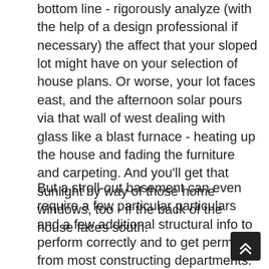bottom line - rigorously analyze (with the help of a design professional if necessary) the affect that your sloped lot might have on your selection of house plans. Or worse, your lot faces east, and the afternoon solar pours via that wall of west dealing with glass like a blast furnace - heating up the house and fading the furniture and carpeting. And you'll get that sunlight by way of those home windows, too - if the back of the house faces south.
But a stroll-out basement can even require a few particular particulars and a few additional structural info to perform correctly and to get permits from most constructing departments. It's important to know what basis systems are common the place you're building. Looks for plans designed for sloped heaps - they're often multi-stage plans and are normally listed as "sloped lot plans" on home plan websites. You